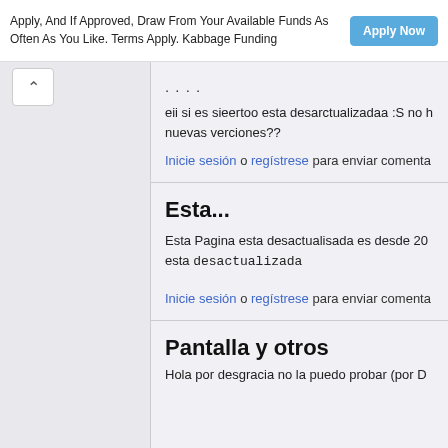Apply, And If Approved, Draw From Your Available Funds As Often As You Like. Terms Apply. Kabbage Funding
Apply Now
....
eii si es sieertoo esta desarctualizadaa :S no h nuevas verciones??
Inicie sesión o regístrese para enviar comenta
Esta...
Esta Pagina esta desactualisada es desde 20 esta desactualizada
Inicie sesión o regístrese para enviar comenta
Pantalla y otros
Hola por desgracia no la puedo probar (por D